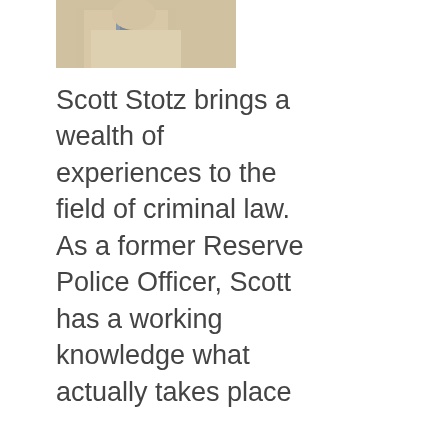[Figure (photo): Photo of Scott Stotz, a man in a light-colored shirt and tie, cropped to show upper body]
Scott Stotz brings a wealth of experiences to the field of criminal law. As a former Reserve Police Officer, Scott has a working knowledge what actually takes place